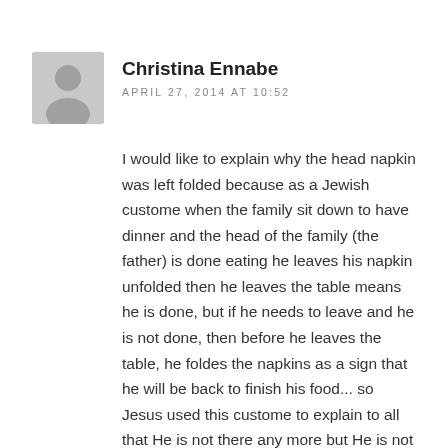[Figure (illustration): Gray circular avatar placeholder with silhouette of a person]
Christina Ennabe
APRIL 27, 2014 AT 10:52
I would like to explain why the head napkin was left folded because as a Jewish custome when the family sit down to have dinner and the head of the family (the father) is done eating he leaves his napkin unfolded then he leaves the table means he is done, but if he needs to leave and he is not done, then before he leaves the table, he foldes the napkins as a sign that he will be back to finish his food... so Jesus used this custome to explain to all that He is not there any more but He is not done because He will be back!!!